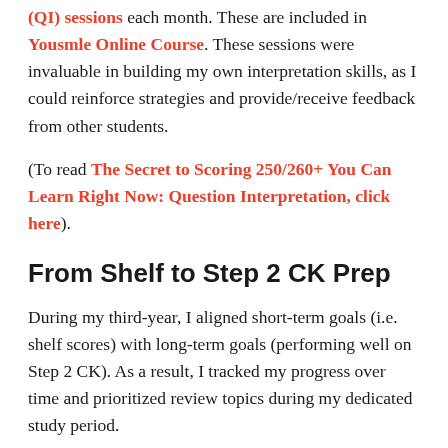(QI) sessions each month. These are included in Yousmle Online Course. These sessions were invaluable in building my own interpretation skills, as I could reinforce strategies and provide/receive feedback from other students.
(To read The Secret to Scoring 250/260+ You Can Learn Right Now: Question Interpretation, click here).
From Shelf to Step 2 CK Prep
During my third-year, I aligned short-term goals (i.e. shelf scores) with long-term goals (performing well on Step 2 CK). As a result, I tracked my progress over time and prioritized review topics during my dedicated study period.
I ended up honoring my shelf exams for: